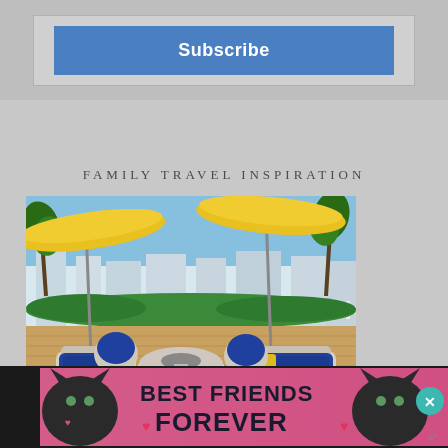[Figure (screenshot): Subscribe button in a box with blue background on a gray page area]
FAMILY TRAVEL INSPIRATION
[Figure (photo): Outdoor patio with yellow umbrellas, blue and white cushioned wicker furniture, fire pit table, overlooking a waterfront with palm trees and blue sky]
[Figure (photo): Advertisement banner: Best Friends Forever with cat images on dark background]